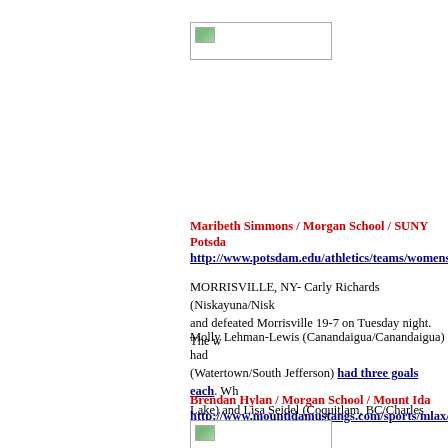[Figure (photo): Small placeholder image with broken image icon, top area]
Maribeth Simmons / Morgan School / SUNY Potsdam http://www.potsdam.edu/athletics/teams/womenslac
MORRISVILLE, NY- Carly Richards (Niskayuna/Nisk and defeated Morrisville 19-7 on Tuesday night. The w
Molly Lehman-Lewis (Canandaigua/Canandaigua) had (Watertown/South Jefferson) had three goals each. Wh Lake) and Lisa Seidel (Coquitlam, BC/Charles Best Se
Brendan Hylan / Morgan School / Mount Ida http://www.mountidamustangs.com/sports/mlax/200
[Figure (photo): Small placeholder image with broken image icon, bottom area]